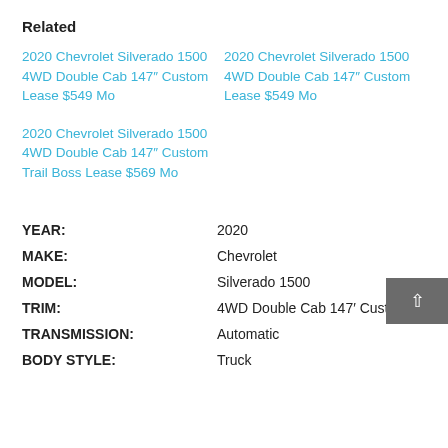Related
2020 Chevrolet Silverado 1500 4WD Double Cab 147″ Custom Lease $549 Mo
2020 Chevrolet Silverado 1500 4WD Double Cab 147″ Custom Lease $549 Mo
2020 Chevrolet Silverado 1500 4WD Double Cab 147″ Custom Trail Boss Lease $569 Mo
| Field | Value |
| --- | --- |
| YEAR: | 2020 |
| MAKE: | Chevrolet |
| MODEL: | Silverado 1500 |
| TRIM: | 4WD Double Cab 147′ Custom |
| TRANSMISSION: | Automatic |
| BODY STYLE: | Truck |